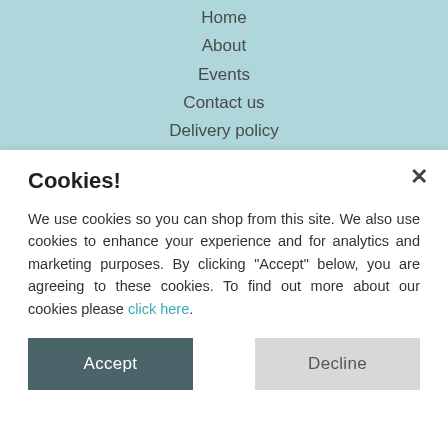Home
About
Events
Contact us
Delivery policy
Returns policy
Cookies!
We use cookies so you can shop from this site. We also use cookies to enhance your experience and for analytics and marketing purposes. By clicking "Accept" below, you are agreeing to these cookies. To find out more about our cookies please click here.
Accept
Decline